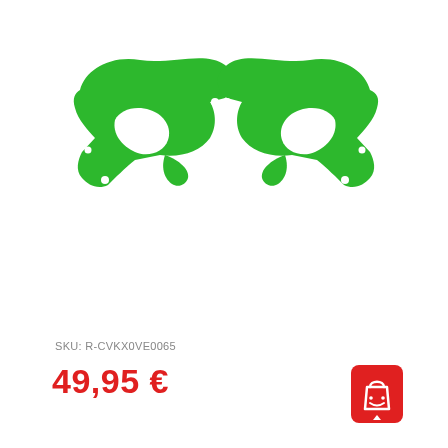[Figure (photo): Two green motorcycle/dirt bike radiator shroud panels (left and right side), made of green plastic with mounting holes, shown on white background.]
SKU: R-CVKX0VE0065
49,95 €
[Figure (other): Red shopping cart / add-to-cart button icon with a smiley face and up arrow]